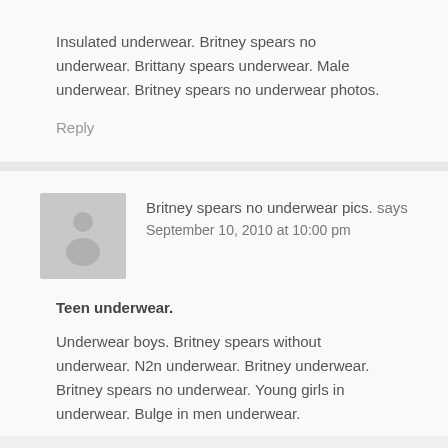Insulated underwear. Britney spears no underwear. Brittany spears underwear. Male underwear. Britney spears no underwear photos.
Reply
Britney spears no underwear pics. says
September 10, 2010 at 10:00 pm
Teen underwear.
Underwear boys. Britney spears without underwear. N2n underwear. Britney underwear. Britney spears no underwear. Young girls in underwear. Bulge in men underwear.